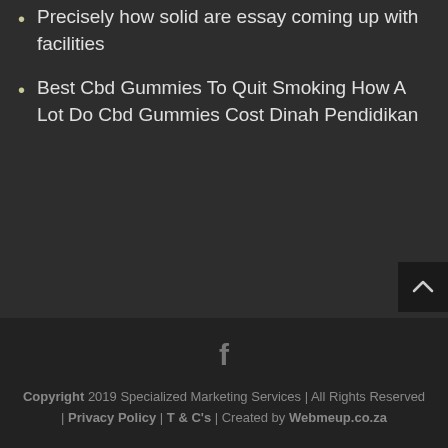Precisely how solid are essay coming up with facilities
Best Cbd Gummies To Quit Smoking How A Lot Do Cbd Gummies Cost Dinah Pendidikan
Copyright 2019 Specialized Marketing Services | All Rights Reserved | Privacy Policy | T & C's | Created by Webmeup.co.za